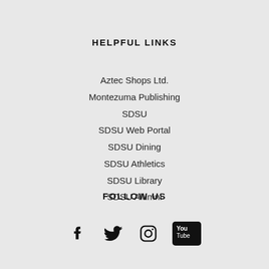HELPFUL LINKS
Aztec Shops Ltd.
Montezuma Publishing
SDSU
SDSU Web Portal
SDSU Dining
SDSU Athletics
SDSU Library
SDSU Alumni
FOLLOW US
[Figure (infographic): Social media icons: Facebook, Twitter, Instagram, YouTube]